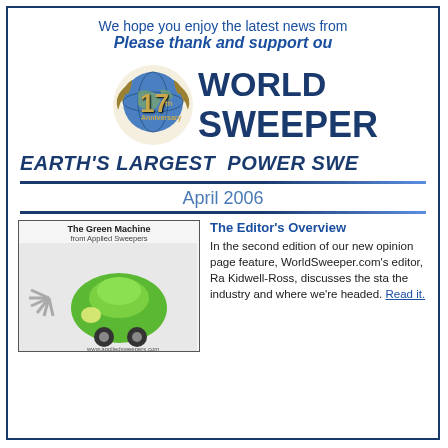We hope you enjoy the latest news from
Please thank and support ou
[Figure (logo): WorldSweeper 17th Anniversary logo with globe and laurel wreath, and WORLD SWEEPER text]
EARTH'S LARGEST POWER SWE
April 2006
[Figure (photo): The Green Machine from Applied Sweepers - green sweeper vehicle photo]
The Editor's Overview
In the second edition of our new opinion page feature, WorldSweeper.com's editor, Ra Kidwell-Ross, discusses the sta the industry and where we're headed. Read it.